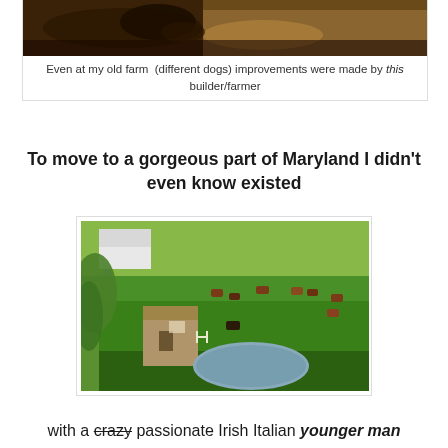[Figure (photo): Partial view of a cat (dark tortoiseshell) on a farm, cropped at top of image]
Even at my old farm  (different dogs) improvements were made by this builder/farmer
To move to a gorgeous part of Maryland I didn't even know existed
[Figure (photo): A pastoral Maryland farm scene with a green field, cattle grazing, a stone building, a weeping willow, a small pond, and a white house in the background]
with a crazy passionate Irish Italian younger man